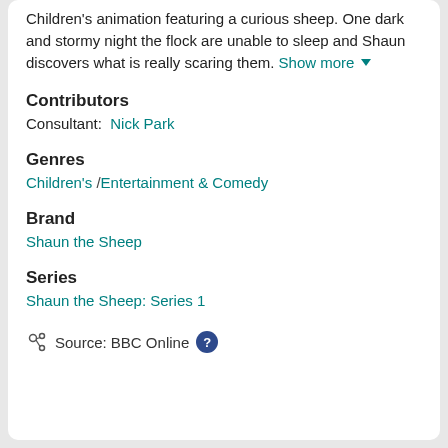Children's animation featuring a curious sheep. One dark and stormy night the flock are unable to sleep and Shaun discovers what is really scaring them. Show more ▼
Contributors
Consultant: Nick Park
Genres
Children's / Entertainment & Comedy
Brand
Shaun the Sheep
Series
Shaun the Sheep: Series 1
Source: BBC Online ?